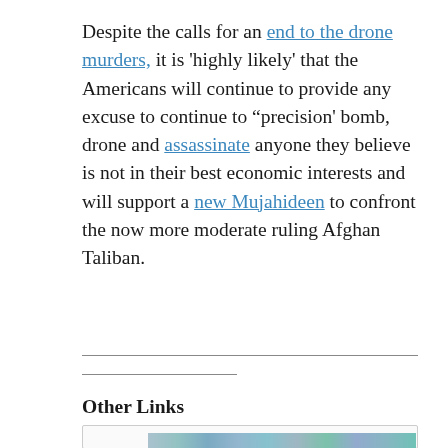Despite the calls for an end to the drone murders, it is 'highly likely' that the Americans will continue to provide any excuse to continue to "precision' bomb, drone and assassinate anyone they believe is not in their best economic interests and will support a new Mujahideen to confront the now more moderate ruling Afghan Taliban.
Other Links
[Figure (photo): Partially visible image card at the bottom of the page showing people, cropped]